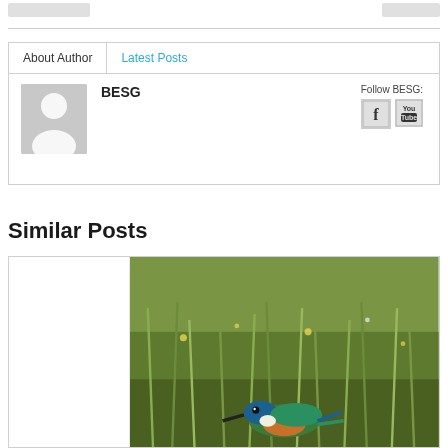[Figure (screenshot): Top navigation bar with two placeholder button/link elements on left and right sides]
About Author
Latest Posts
BESG
Follow BESG:
[Figure (illustration): Generic user avatar silhouette on grey background]
[Figure (illustration): Facebook icon square button]
[Figure (illustration): YouTube icon square button]
Similar Posts
[Figure (photo): A bird (kingfisher/bee-eater type) photographed in a grassy field with green vegetation]